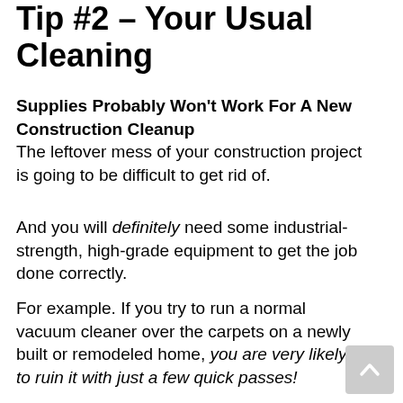Tip #2 – Your Usual Cleaning
Supplies Probably Won't Work For A New Construction Cleanup
The leftover mess of your construction project is going to be difficult to get rid of.
And you will definitely need some industrial-strength, high-grade equipment to get the job done correctly.
For example. If you try to run a normal vacuum cleaner over the carpets on a newly built or remodeled home, you are very likely to ruin it with just a few quick passes!